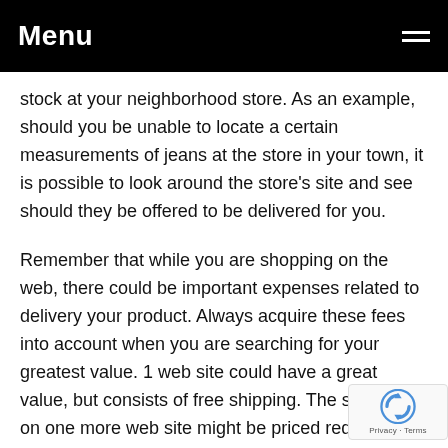Menu
stock at your neighborhood store. As an example, should you be unable to locate a certain measurements of jeans at the store in your town, it is possible to look around the store's site and see should they be offered to be delivered for you.
Remember that while you are shopping on the web, there could be important expenses related to delivery your product. Always acquire these fees into account when you are searching for your greatest value. 1 web site could have a great value, but consists of free shipping. The same item on one more web site might be priced reduced, but by the time the delivery prices are extra, it really is higher priced compared to first website